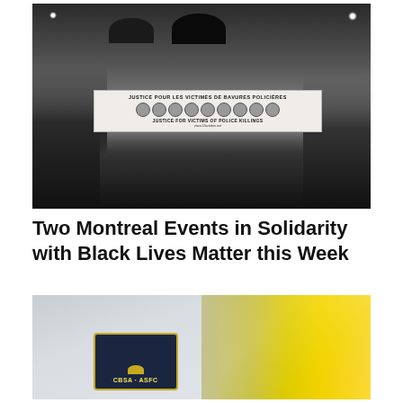[Figure (photo): Black and white photo of protesters marching at night in snowy/rainy conditions, holding umbrellas and a banner reading 'JUSTICE POUR LES VICTIMES DE BAVURES POLICIÈRES' with photos of victims and 'JUSTICE FOR VICTIMS OF POLICE KILLINGS' and www.22octobre.net]
Two Montreal Events in Solidarity with Black Lives Matter this Week
[Figure (photo): Close-up color photo of a uniform shoulder patch reading 'CBSA · ASFC' with a crown emblem, on a white/light uniform, with yellow background elements visible on the right]